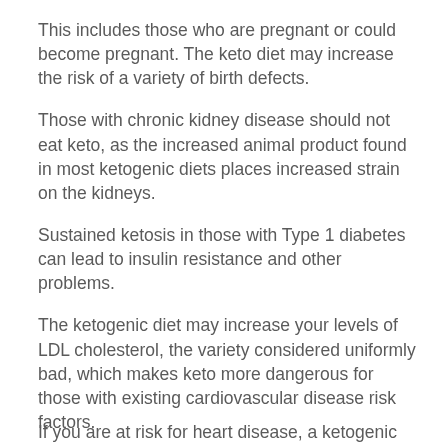This includes those who are pregnant or could become pregnant. The keto diet may increase the risk of a variety of birth defects.
Those with chronic kidney disease should not eat keto, as the increased animal product found in most ketogenic diets places increased strain on the kidneys.
Sustained ketosis in those with Type 1 diabetes can lead to insulin resistance and other problems.
The ketogenic diet may increase your levels of LDL cholesterol, the variety considered uniformly bad, which makes keto more dangerous for those with existing cardiovascular disease risk factors.
If you are at risk for heart disease, a ketogenic diet...